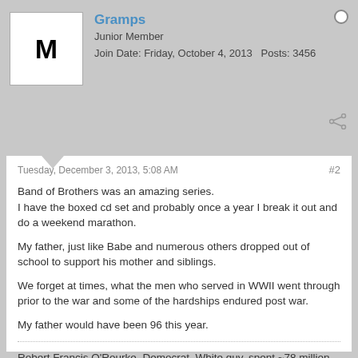Gramps | Junior Member | Join Date: Friday, October 4, 2013 | Posts: 3456
Tuesday, December 3, 2013, 5:08 AM  #2
Band of Brothers was an amazing series.
I have the boxed cd set and probably once a year I break it out and do a weekend marathon.

My father, just like Babe and numerous others dropped out of school to support his mother and siblings.

We forget at times, what the men who served in WWII went through prior to the war and some of the hardships endured post war.

My father would have been 96 this year.
Robert Francis O'Rourke, Democrat, White guy, spent ~78 million to defeat, Ted Cruz, Republican immigrant Dark guy â€¦
and lost â€¦
But the Republicans are racist. 😎